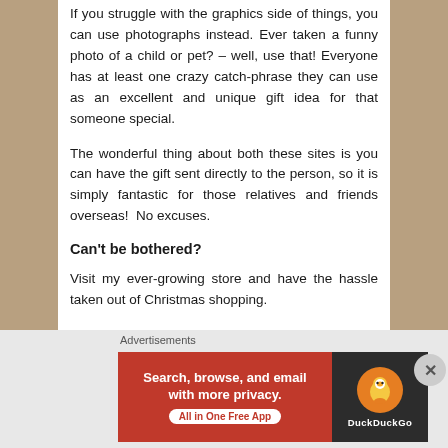If you struggle with the graphics side of things, you can use photographs instead. Ever taken a funny photo of a child or pet? – well, use that! Everyone has at least one crazy catch-phrase they can use as an excellent and unique gift idea for that someone special.
The wonderful thing about both these sites is you can have the gift sent directly to the person, so it is simply fantastic for those relatives and friends overseas! No excuses.
Can't be bothered?
Visit my ever-growing store and have the hassle taken out of Christmas shopping.
This is my first batch of vegetable produce:
Advertisements
[Figure (screenshot): DuckDuckGo advertisement banner: orange-red left panel with text 'Search, browse, and email with more privacy. All in One Free App' and dark right panel with DuckDuckGo logo and duck icon.]